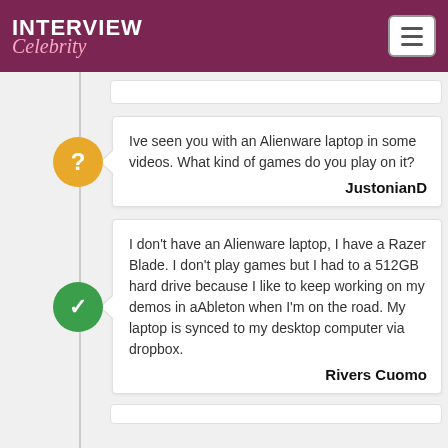INTERVIEW Celebrity
Ive seen you with an Alienware laptop in some videos. What kind of games do you play on it?
JustonianD
I don't have an Alienware laptop, I have a Razer Blade. I don't play games but I had to a 512GB hard drive because I like to keep working on my demos in aAbleton when I'm on the road. My laptop is synced to my desktop computer via dropbox.
Rivers Cuomo